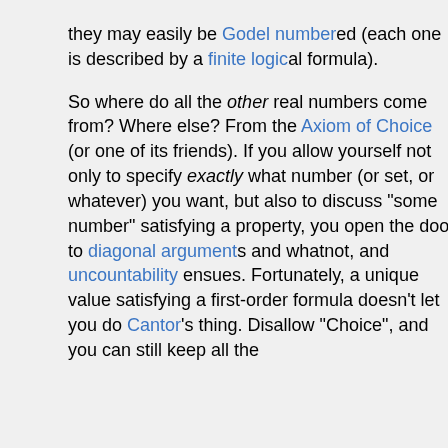they may easily be Godel numbered (each one is described by a finite logical formula).

So where do all the other real numbers come from? Where else? From the Axiom of Choice (or one of its friends). If you allow yourself not only to specify exactly what number (or set, or whatever) you want, but also to discuss "some number" satisfying a property, you open the door to diagonal arguments and whatnot, and uncountability ensues. Fortunately, a unique value satisfying a first-order formula doesn't let you do Cantor's thing. Disallow "Choice", and you can still keep all the